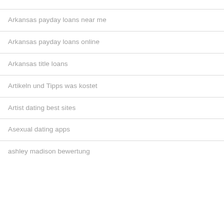Arkansas payday loans near me
Arkansas payday loans online
Arkansas title loans
Artikeln und Tipps was kostet
Artist dating best sites
Asexual dating apps
ashley madison bewertung